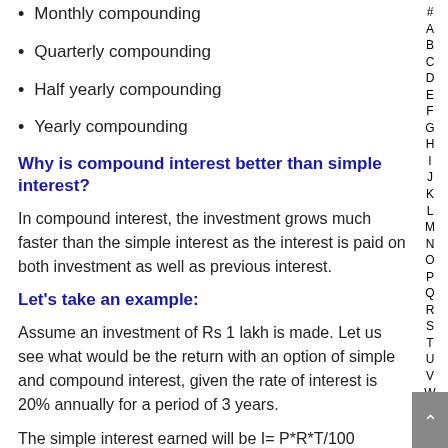Monthly compounding
Quarterly compounding
Half yearly compounding
Yearly compounding
Why is compound interest better than simple interest?
In compound interest, the investment grows much faster than the simple interest as the interest is paid on both investment as well as previous interest.
Let's take an example:
Assume an investment of Rs 1 lakh is made. Let us see what would be the return with an option of simple and compound interest, given the rate of interest is 20% annually for a period of 3 years.
The simple interest earned will be I= P*R*T/100
That is, I = 1,00,000*20*3/100 = Rs. 60,000